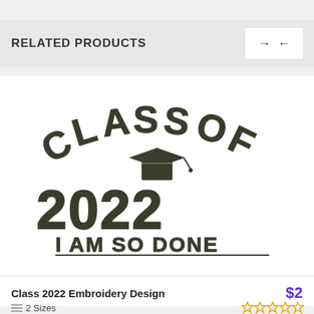RELATED PRODUCTS
[Figure (photo): Embroidery design image showing 'CLASS OF 2022 I AM SO DONE' text with graduation cap, rendered in dark green thread on white background]
Class 2022 Embroidery Design
$2
2 Sizes